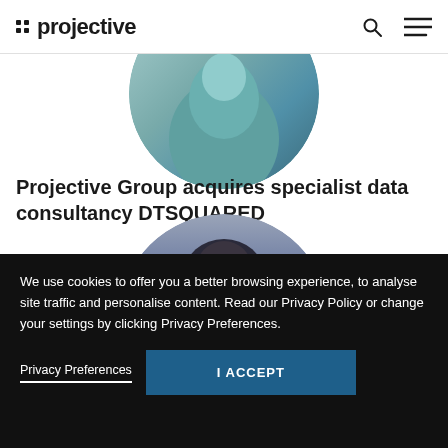:: projective
[Figure (photo): Circular cropped photo of a person in teal/blue tones, partially visible at top]
Projective Group acquires specialist data consultancy DTSQUARED
[Figure (photo): Circular cropped photo showing top of a person's head, dark hair, partially visible at bottom]
We use cookies to offer you a better browsing experience, to analyse site traffic and personalise content. Read our Privacy Policy or change your settings by clicking Privacy Preferences.
Privacy Preferences
I ACCEPT